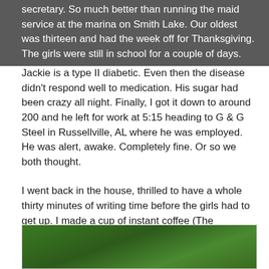secretary. So much better than running the maid service at the marina on Smith Lake. Our oldest was thirteen and had the week off for Thanksgiving. The girls were still in school for a couple of days.
Jackie is a type II diabetic. Even then the disease didn't respond well to medication. His sugar had been crazy all night. Finally, I got it down to around 200 and he left for work at 5:15 heading to G & G Steel in Russellville, AL where he was employed. He was alert, awake. Completely fine. Or so we both thought.
I went back in the house, thrilled to have a whole thirty minutes of writing time before the girls had to get up. I made a cup of instant coffee (The International Foods kind, that was when I didn't need real coffee.) Then put in the audio tape version of Cradle and All by James Patterson I'd been listening too. Ten minutes had passed…
[Figure (photo): Partial photo of green trees/foliage at the bottom of the page]